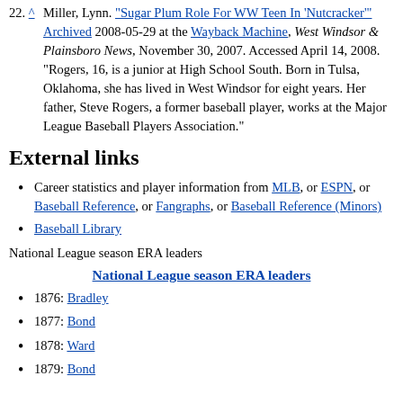22. ^ Miller, Lynn. "Sugar Plum Role For WW Teen In 'Nutcracker'" Archived 2008-05-29 at the Wayback Machine, West Windsor & Plainsboro News, November 30, 2007. Accessed April 14, 2008. "Rogers, 16, is a junior at High School South. Born in Tulsa, Oklahoma, she has lived in West Windsor for eight years. Her father, Steve Rogers, a former baseball player, works at the Major League Baseball Players Association."
External links
Career statistics and player information from MLB, or ESPN, or Baseball Reference, or Fangraphs, or Baseball Reference (Minors)
Baseball Library
National League season ERA leaders
National League season ERA leaders
1876: Bradley
1877: Bond
1878: Ward
1879: Bond